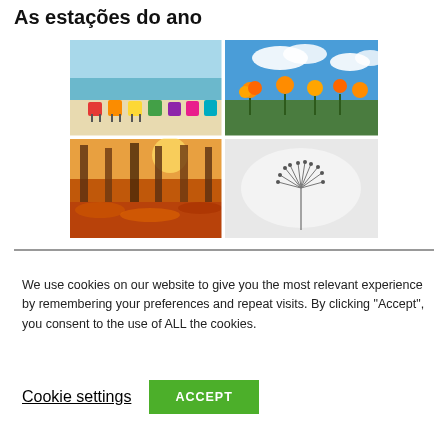As estações do ano
[Figure (photo): A 2x2 grid of four seasonal photos: top-left shows colorful beach chairs on a sandy beach (summer), top-right shows orange flowers against a blue sky with clouds (spring), bottom-left shows an autumn forest with orange leaves and sunlight, bottom-right shows a close-up of a dried flower/dandelion in black and white (winter).]
We use cookies on our website to give you the most relevant experience by remembering your preferences and repeat visits. By clicking "Accept", you consent to the use of ALL the cookies.
Cookie settings   ACCEPT